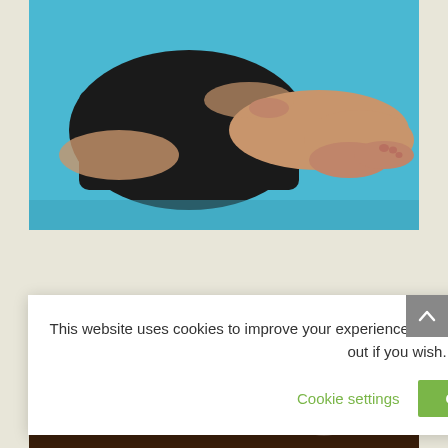[Figure (photo): Close-up photo of a person's lower body sitting on a blue yoga mat, wearing black shorts, barefoot, in a seated yoga pose]
[Figure (photo): Interior of a yoga studio with dim lighting, large Om (ॐ) symbol on the dark wall, string lights on both sides, person seated in meditation facing the front, candles visible]
This website uses cookies to improve your experience. We'll assume you're ok with this, but you can opt-out if you wish.
Cookie settings
OK